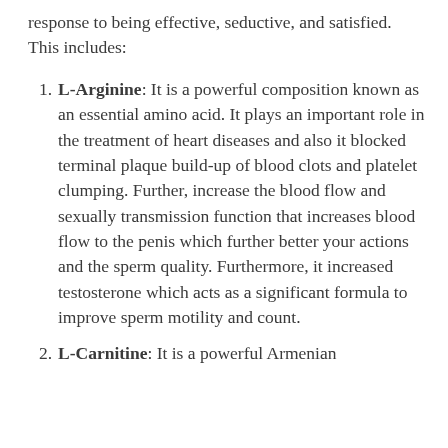response to being effective, seductive, and satisfied. This includes:
L-Arginine: It is a powerful composition known as an essential amino acid. It plays an important role in the treatment of heart diseases and also it blocked terminal plaque build-up of blood clots and platelet clumping. Further, increase the blood flow and sexually transmission function that increases blood flow to the penis which further better your actions and the sperm quality. Furthermore, it increased testosterone which acts as a significant formula to improve sperm motility and count.
L-Carnitine: It is a powerful Armenian